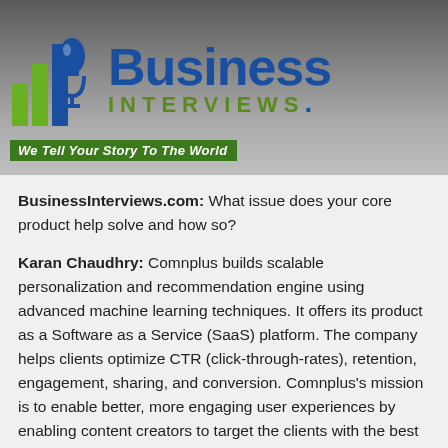[Figure (logo): Business Interviews logo with bar chart icon and microphone, blue 'Business' text and green 'INTERVIEWS' text, with green tagline banner 'We Tell Your Story To The World']
BusinessInterviews.com: What issue does your core product help solve and how so?
Karan Chaudhry: Comnplus builds scalable personalization and recommendation engine using advanced machine learning techniques. It offers its product as a Software as a Service (SaaS) platform. The company helps clients optimize CTR (click-through-rates), retention, engagement, sharing, and conversion. Comnplus's mission is to enable better, more engaging user experiences by enabling content creators to target the clients with the best suited personalized content.
BusinessInterviews.com: What has been your biggest